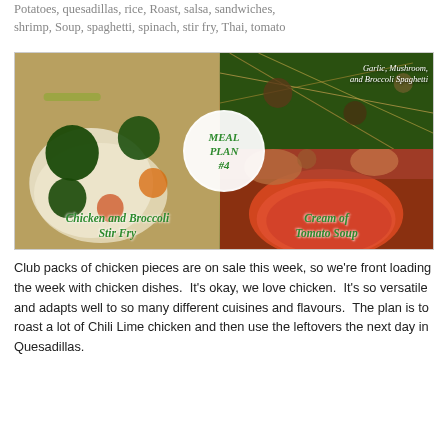Potatoes, quesadillas, rice, Roast, salsa, sandwiches, shrimp, Soup, spaghetti, spinach, stir fry, Thai, tomato
[Figure (photo): Meal Plan #4 collage with four quadrants: top-left shows chicken and broccoli stir fry over rice, top-right shows garlic mushroom and broccoli spaghetti, bottom-right shows cream of tomato soup in a bowl. A white circle in the center reads 'MEAL PLAN #4' in green italic text. Labels in green italic text: 'Chicken and Broccoli Stir Fry' (bottom left) and 'Cream of Tomato Soup' (bottom right).]
Club packs of chicken pieces are on sale this week, so we're front loading the week with chicken dishes.  It's okay, we love chicken.  It's so versatile and adapts well to so many different cuisines and flavours.  The plan is to roast a lot of Chili Lime chicken and then use the leftovers the next day in Quesadillas.